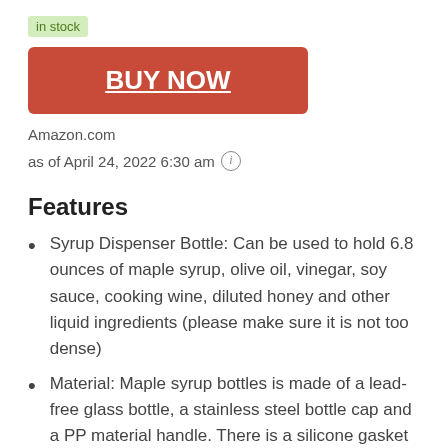in stock
BUY NOW
Amazon.com
as of April 24, 2022 6:30 am ℹ
Features
Syrup Dispenser Bottle: Can be used to hold 6.8 ounces of maple syrup, olive oil, vinegar, soy sauce, cooking wine, diluted honey and other liquid ingredients (please make sure it is not too dense)
Material: Maple syrup bottles is made of a lead-free glass bottle, a stainless steel bottle cap and a PP material handle. There is a silicone gasket inside